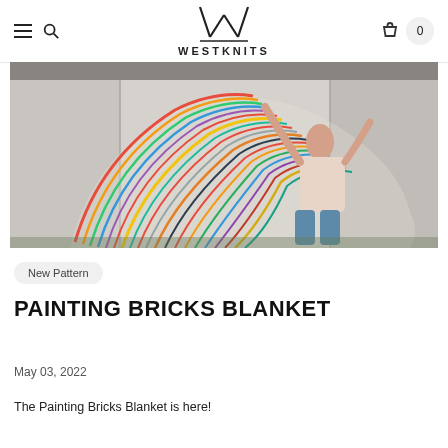WESTKNITS
[Figure (photo): Person in a patterned sweater holding up a large colorful striped knitted blanket in front of a white industrial building exterior]
New Pattern
PAINTING BRICKS BLANKET
May 03, 2022
The Painting Bricks Blanket is here!